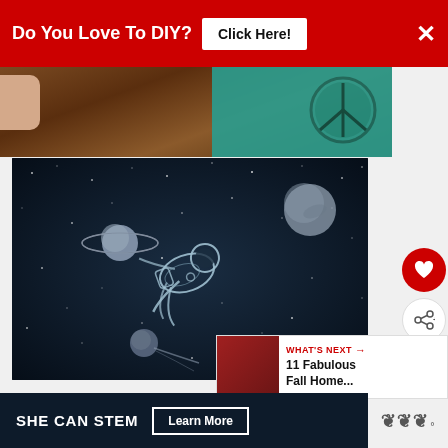[Figure (screenshot): Red advertisement banner at top: 'Do You Love To DIY? Click Here!' with X close button]
[Figure (photo): Top photo strip showing wooden surface with teal/green paper and a stenciled peace sign logo, with a hand visible at left edge]
[Figure (illustration): Dark space scene with an astronaut floating, Saturn-like planet with rings, another planet upper right, and a comet/moon lower center. White chalk-style line art on near-black background.]
[Figure (screenshot): Side buttons: red heart/like button and grey share button]
[Figure (screenshot): What's Next widget showing '11 Fabulous Fall Home...' with a thumbnail photo]
[Figure (screenshot): SHE CAN STEM advertisement banner at bottom with Learn More button and brand logo]
Do You Love To DIY?
Click Here!
WHAT'S NEXT →
11 Fabulous Fall Home...
SHE CAN STEM
Learn More